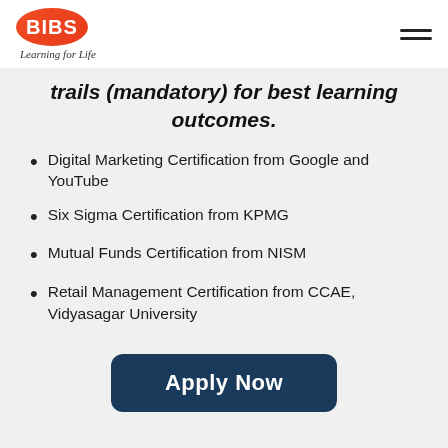BIBS Learning for Life
trails (mandatory) for best learning outcomes.
Digital Marketing Certification from Google and YouTube
Six Sigma Certification from KPMG
Mutual Funds Certification from NISM
Retail Management Certification from CCAE, Vidyasagar University
Apply Now